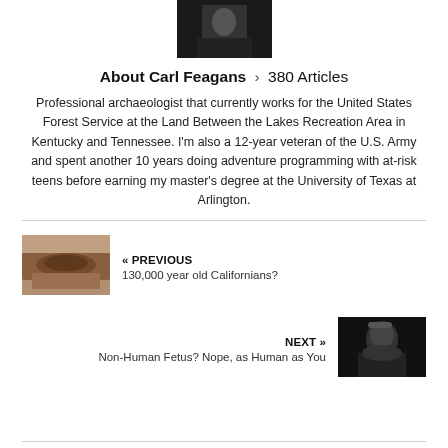[Figure (photo): Small thumbnail photo at top, dark/black tones, appears to be a person]
About Carl Feagans > 380 Articles
Professional archaeologist that currently works for the United States Forest Service at the Land Between the Lakes Recreation Area in Kentucky and Tennessee. I'm also a 12-year veteran of the U.S. Army and spent another 10 years doing adventure programming with at-risk teens before earning my master's degree at the University of Texas at Arlington.
[Figure (photo): Thumbnail image of archaeological artifact, stone or bone fragment, brownish tones]
« PREVIOUS
130,000 year old Californians?
NEXT »
Non-Human Fetus? Nope, as Human as You
[Figure (photo): Thumbnail black and white portrait photo of a person]